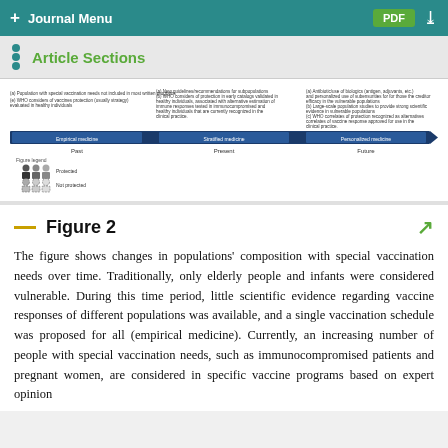+ Journal Menu | PDF
Article Sections
[Figure (infographic): Timeline diagram showing changes in populations composition with special vaccination needs across Past, Present, and Future, with arrows labeled Empirical medicine, Stratified medicine, and Personalized medicine. Includes a legend showing Protected and Not protected populations.]
Figure 2
The figure shows changes in populations' composition with special vaccination needs over time. Traditionally, only elderly people and infants were considered vulnerable. During this time period, little scientific evidence regarding vaccine responses of different populations was available, and a single vaccination schedule was proposed for all (empirical medicine). Currently, an increasing number of people with special vaccination needs, such as immunocompromised patients and pregnant women, are considered in specific vaccine programs based on expert opinion